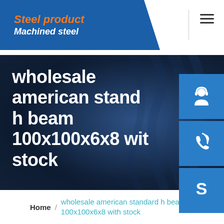[Figure (logo): Steel product / Machined steel logo on blue background with orange and white italic bold text]
[Figure (infographic): Hamburger menu icon (three horizontal lines) in top right header]
wholesale american standard h beam 100x100x6x8 with stock
[Figure (illustration): Blue square button with white headset/customer service icon]
[Figure (illustration): Blue square button with white phone/call icon]
[Figure (illustration): Blue square button with white Skype logo icon]
Home / wholesale american standard h beam 100x100x6x8 with stock